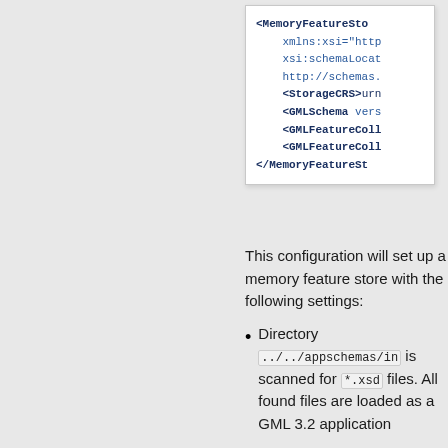[Figure (screenshot): A code snippet box showing XML configuration for a MemoryFeatureStore, with tags including MemoryFeatureStore, xmlns:xsi, xsi:schemaLocation, http://schemas., StorageCRS, GMLSchema, GMLFeatureCollection (twice), and /MemoryFeatureStore]
This configuration will set up a memory feature store with the following settings:
Directory ../../appschemas/in is scanned for *.xsd files. All found files are loaded as a GML 3.2 application